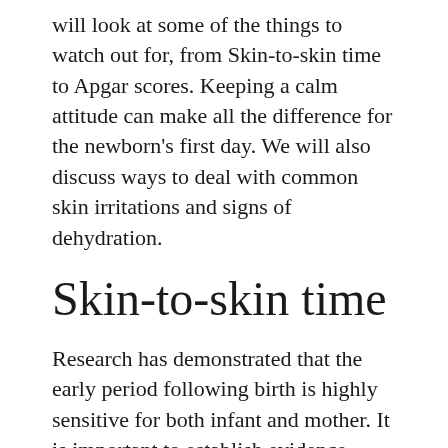will look at some of the things to watch out for, from Skin-to-skin time to Apgar scores. Keeping a calm attitude can make all the difference for the newborn's first day. We will also discuss ways to deal with common skin irritations and signs of dehydration.
Skin-to-skin time
Research has demonstrated that the early period following birth is highly sensitive for both infant and mother. It is important to establish evidence-based routines among staff to promote skin-to-skin contact between mother and newborn. This contact can improve the bonding process between